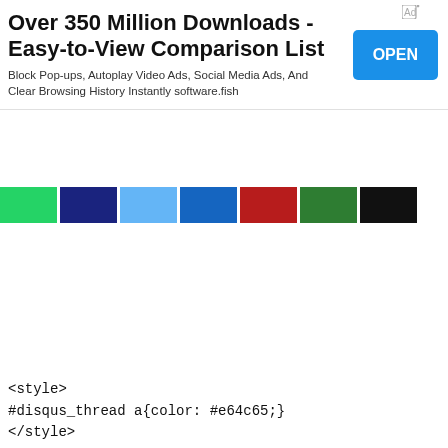[Figure (screenshot): Advertisement banner: 'Over 350 Million Downloads - Easy-to-View Comparison List' with an OPEN button and subtitle text about blocking pop-ups and ads]
[Figure (screenshot): Social share button bar with colored buttons: green, dark blue, light blue, blue, red, green, black]
<style>
#disqus_thread a{color: #e64c65;}
</style>